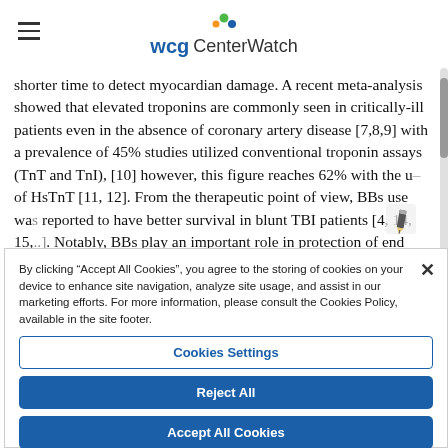WCG CenterWatch
shorter time to detect myocardian damage. A recent meta-analysis showed that elevated troponins are commonly seen in critically-ill patients even in the absence of coronary artery disease [7,8,9] with a prevalence of 45% studies utilized conventional troponin assays (TnT and TnI), [10] however, this figure reaches 62% with the use of HsTnT [11, 12]. From the therapeutic point of view, BBs use was reported to have better survival in blunt TBI patients [4, 14, 15,..]. Notably, BBs play an important role in protection of end organs that are susceptible for secondary injury by the TBI-induced
By clicking “Accept All Cookies”, you agree to the storing of cookies on your device to enhance site navigation, analyze site usage, and assist in our marketing efforts. For more information, please consult the Cookies Policy, available in the site footer.